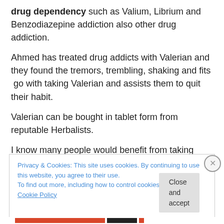drug dependency such as Valium, Librium and Benzodiazepine addiction also other drug addiction.
Ahmed has treated drug addicts with Valerian and they found the tremors, trembling, shaking and fits go with taking Valerian and assists them to quit their habit.
Valerian can be bought in tablet form from reputable Herbalists.
I know many people would benefit from taking Valerian it works quickly and powerfully.
Privacy & Cookies: This site uses cookies. By continuing to use this website, you agree to their use.
To find out more, including how to control cookies, see here: Cookie Policy